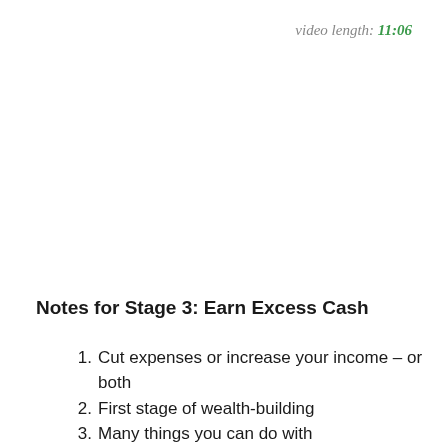video length: 11:06
Notes for Stage 3: Earn Excess Cash
1. Cut expenses or increase your income – or both
2. First stage of wealth-building
3. Many things you can do with